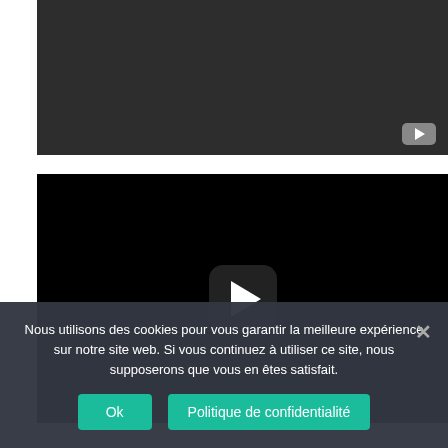[Figure (screenshot): Dark gray video player thumbnail with a small YouTube play button icon in the bottom right corner]
[Figure (screenshot): Black video player with a large YouTube-style play button (rounded square with white triangle) centered in the frame]
Nous utilisons des cookies pour vous garantir la meilleure expérience sur notre site web. Si vous continuez à utiliser ce site, nous supposerons que vous en êtes satisfait.
Ok
Politique de confidentialité